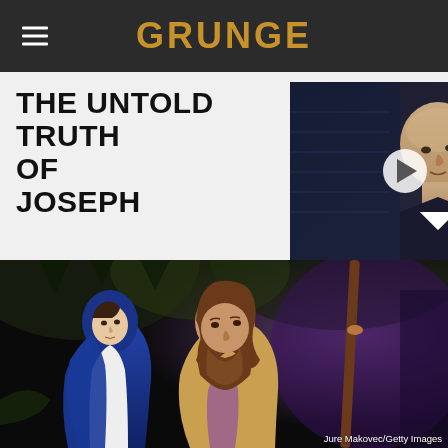GRUNGE
THE UNTOLD TRUTH OF JOSEPH
[Figure (screenshot): Video thumbnail showing a bald man in a suit against a dark background with a play button overlay and close button]
[Figure (photo): Photo of two people dressed in biblical costumes — a woman in a blue head covering (Mary) and a bearded man holding a staff (Joseph) against a cave-like background. Credit: Jure Makovec/Getty Images]